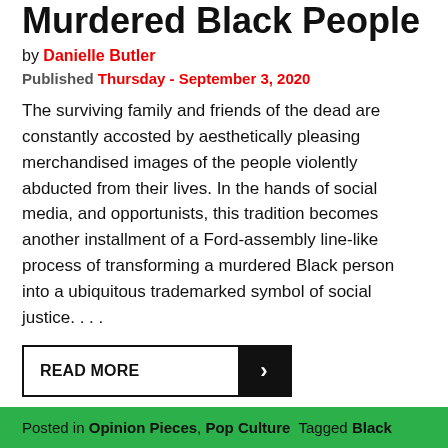Murdered Black People
by Danielle Butler
Published Thursday - September 3, 2020
The surviving family and friends of the dead are constantly accosted by aesthetically pleasing merchandised images of the people violently abducted from their lives. In the hands of social media, and opportunists, this tradition becomes another installment of a Ford-assembly line-like process of transforming a murdered Black person into a ubiquitous trademarked symbol of social justice. . . .
READ MORE
Posted in Opinion Pieces, Pop Culture  Tagged Black